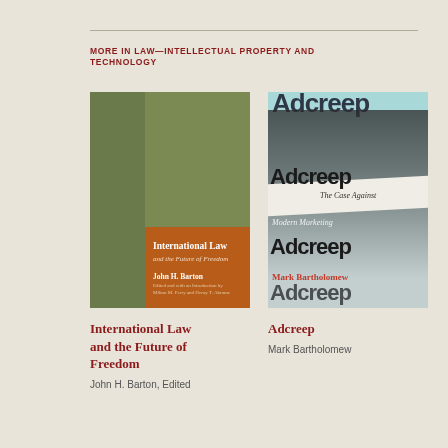MORE IN LAW—INTELLECTUAL PROPERTY AND TECHNOLOGY
[Figure (illustration): Book cover for 'International Law and the Future of Freedom' by John H. Barton. Two-tone green background with orange panel containing title and author name in white serif text.]
[Figure (illustration): Book cover for 'Adcreep: The Case Against Modern Marketing' by Mark Bartholomew. Light blue background with large bold 'Adcreep' text repeated, a black and white face photo, a diagonal white band with italic subtitle text, and the author's name in red.]
International Law and the Future of Freedom
John H. Barton, Edited
Adcreep
Mark Bartholomew